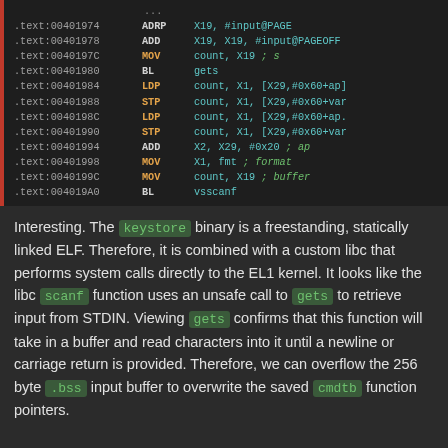[Figure (screenshot): Assembly code listing in dark IDE style showing ARM instructions at addresses 0x00401974 through 0x004019A0, with columns for address, mnemonic, and operands/comments.]
Interesting. The keystore binary is a freestanding, statically linked ELF. Therefore, it is combined with a custom libc that performs system calls directly to the EL1 kernel. It looks like the libc scanf function uses an unsafe call to gets to retrieve input from STDIN. Viewing gets confirms that this function will take in a buffer and read characters into it until a newline or carriage return is provided. Therefore, we can overflow the 256 byte .bss input buffer to overwrite the saved cmdtb function pointers.